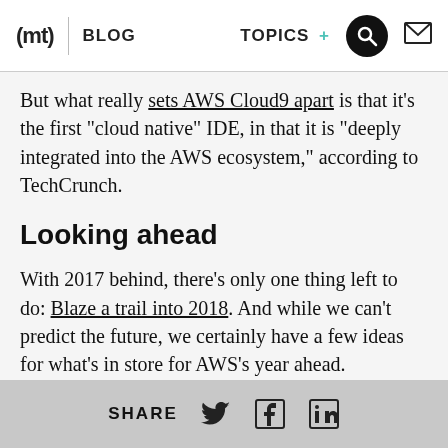(mt) | BLOG   TOPICS +
But what really sets AWS Cloud9 apart is that it's the first “cloud native” IDE, in that it is “deeply integrated into the AWS ecosystem,” according to TechCrunch.
Looking ahead
With 2017 behind, there’s only one thing left to do: Blaze a trail into 2018. And while we can’t predict the future, we certainly have a few ideas for what’s in store for AWS’s year ahead.
Build your next project on the cloud with
SHARE